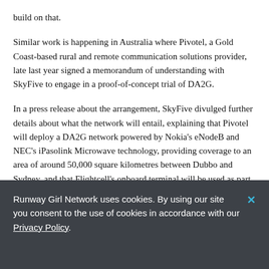build on that.
Similar work is happening in Australia where Pivotel, a Gold Coast-based rural and remote communication solutions provider, late last year signed a memorandum of understanding with SkyFive to engage in a proof-of-concept trial of DA2G.
In a press release about the arrangement, SkyFive divulged further details about what the network will entail, explaining that Pivotel will deploy a DA2G network powered by Nokia's eNodeB and NEC's iPasolink Microwave technology, providing coverage to an area of around 50,000 square kilometres between Dubbo and Sydney, and that Flightcell's onboard terminal will be used as part of the trial.
Runway Girl Network uses cookies. By using our site you consent to the use of cookies in accordance with our Privacy Policy.